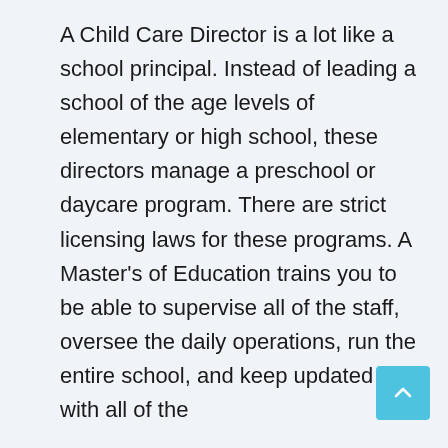A Child Care Director is a lot like a school principal. Instead of leading a school of the age levels of elementary or high school, these directors manage a preschool or daycare program. There are strict licensing laws for these programs. A Master's of Education trains you to be able to supervise all of the staff, oversee the daily operations, run the entire school, and keep updated with all of the